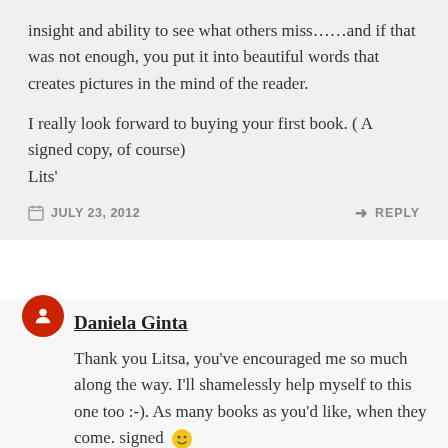insight and ability to see what others miss……and if that was not enough, you put it into beautiful words that creates pictures in the mind of the reader.
I really look forward to buying your first book. ( A signed copy, of course)
Lits’
JULY 23, 2012   REPLY
Daniela Ginta
Thank you Litsa, you’ve encouraged me so much along the way. I’ll shamelessly help myself to this one too :-). As many books as you’d like, when they come. signed 🙂